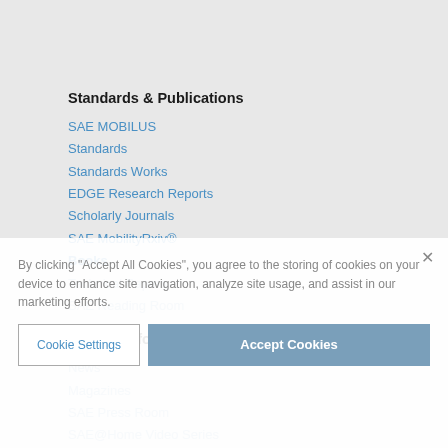Standards & Publications
SAE MOBILUS
Standards
Standards Works
EDGE Research Reports
Scholarly Journals
SAE MobilityRxiv®
Books
Technical Papers
SAE Reading Room
News & Information
News
Magazines
SAE Press Room
SAE@Home Video Series
Roundtable Series
SAE SmartBrief
Podcasts
Video
By clicking "Accept All Cookies", you agree to the storing of cookies on your device to enhance site navigation, analyze site usage, and assist in our marketing efforts.
Cookie Settings
Accept Cookies